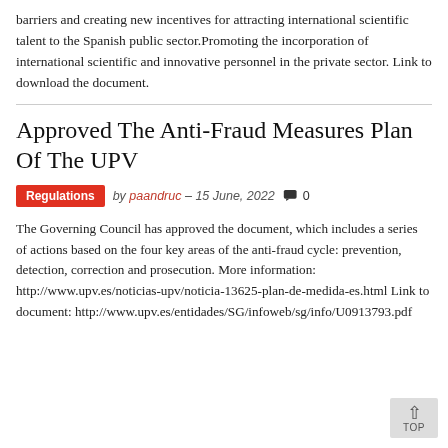barriers and creating new incentives for attracting international scientific talent to the Spanish public sector.Promoting the incorporation of international scientific and innovative personnel in the private sector. Link to download the document.
Approved The Anti-Fraud Measures Plan Of The UPV
Regulations   by paandruc – 15 June, 2022   0
The Governing Council has approved the document, which includes a series of actions based on the four key areas of the anti-fraud cycle: prevention, detection, correction and prosecution. More information: http://www.upv.es/noticias-upv/noticia-13625-plan-de-medida-es.html Link to document: http://www.upv.es/entidades/SG/infoweb/sg/info/U0913793.pdf